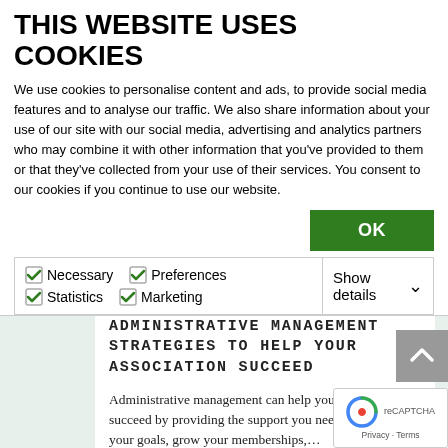THIS WEBSITE USES COOKIES
We use cookies to personalise content and ads, to provide social media features and to analyse our traffic. We also share information about your use of our site with our social media, advertising and analytics partners who may combine it with other information that you've provided to them or that they've collected from your use of their services. You consent to our cookies if you continue to use our website.
OK
Necessary  Preferences  Statistics  Marketing  Show details
ADMINISTRATIVE MANAGEMENT STRATEGIES TO HELP YOUR ASSOCIATION SUCCEED
Administrative management can help your association succeed by providing the support you need to achieve your goals, grow your memberships,...